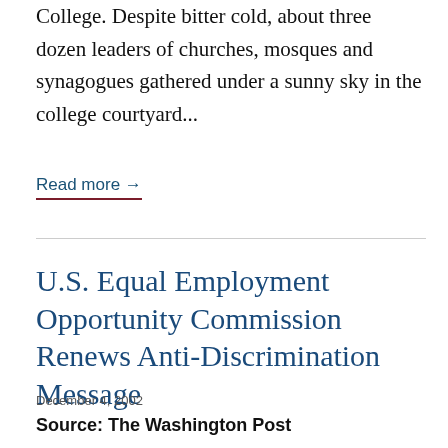College. Despite bitter cold, about three dozen leaders of churches, mosques and synagogues gathered under a sunny sky in the college courtyard...
Read more →
U.S. Equal Employment Opportunity Commission Renews Anti-Discrimination Message
December 4, 2002
Source: The Washington Post